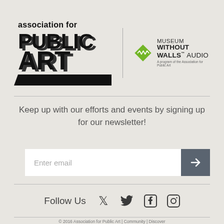[Figure (logo): Association for Public Art logo (aPA) — bold black text 'association for PUBLIC ART' with stylized block lettering and shadow effect]
[Figure (logo): Museum Without Walls Audio logo — green diamond shape with 'mw' wave mark, text: MUSEUM WITHOUT WALLS™ AUDIO, A program of the Association for Public Art]
Keep up with our efforts and events by signing up for our newsletter!
Enter email
Follow Us
© 2016 Association for Public Art | Community | Discover